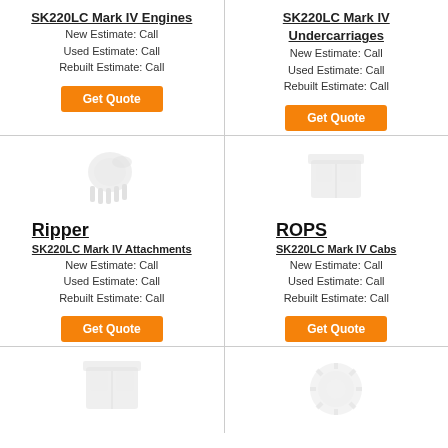SK220LC Mark IV Engines
New Estimate: Call
Used Estimate: Call
Rebuilt Estimate: Call
SK220LC Mark IV Undercarriages
New Estimate: Call
Used Estimate: Call
Rebuilt Estimate: Call
[Figure (illustration): Gray illustration of a ripper attachment]
[Figure (illustration): Gray illustration of a ROPS cab]
Ripper
SK220LC Mark IV Attachments
New Estimate: Call
Used Estimate: Call
Rebuilt Estimate: Call
ROPS
SK220LC Mark IV Cabs
New Estimate: Call
Used Estimate: Call
Rebuilt Estimate: Call
[Figure (illustration): Gray illustration of a cab]
[Figure (illustration): Gray illustration of a hydraulic component]